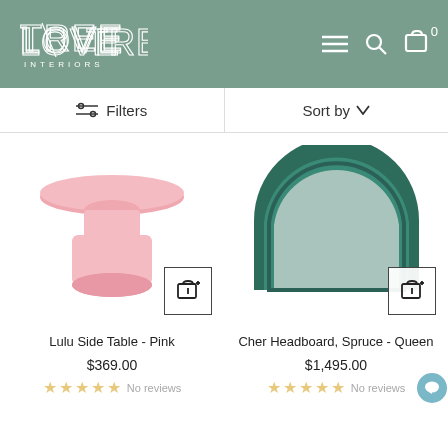[Figure (logo): Love Tree Interiors logo in white outline on sage green header background]
Filters
Sort by
[Figure (photo): Pink glossy mushroom-shaped side table (Lulu Side Table - Pink)]
Lulu Side Table - Pink
$369.00
No reviews
[Figure (photo): Dark green semi-circular headboard with teal mirror (Cher Headboard, Spruce - Queen)]
Cher Headboard, Spruce - Queen
$1,495.00
No reviews